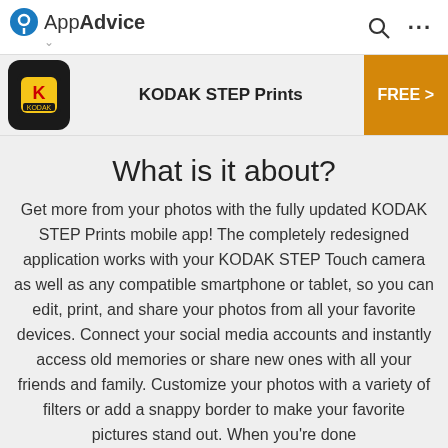AppAdvice
KODAK STEP Prints
What is it about?
Get more from your photos with the fully updated KODAK STEP Prints mobile app! The completely redesigned application works with your KODAK STEP Touch camera as well as any compatible smartphone or tablet, so you can edit, print, and share your photos from all your favorite devices. Connect your social media accounts and instantly access old memories or share new ones with all your friends and family. Customize your photos with a variety of filters or add a snappy border to make your favorite pictures stand out. When you're done editing, sharing like memories has never been easier.